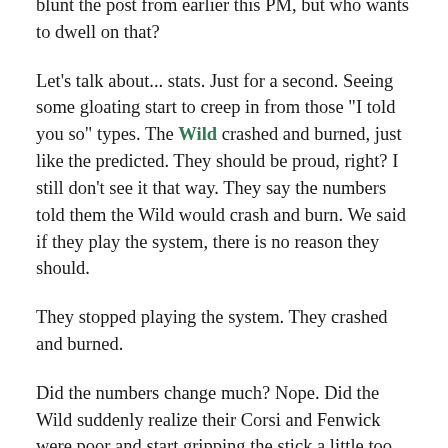blunt the post from earlier this PM, but who wants to dwell on that?
Let's talk about... stats. Just for a second. Seeing some gloating start to creep in from those "I told you so" types. The Wild crashed and burned, just like the predicted. They should be proud, right? I still don't see it that way. They say the numbers told them the Wild would crash and burn. We said if they play the system, there is no reason they should.
They stopped playing the system. They crashed and burned.
Did the numbers change much? Nope. Did the Wild suddenly realize their Corsi and Fenwick were poor and start gripping the stick a little too much? Nope. Turns out, they don't even use those numbers. The